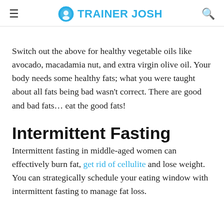TRAINER JOSH
Switch out the above for healthy vegetable oils like avocado, macadamia nut, and extra virgin olive oil. Your body needs some healthy fats; what you were taught about all fats being bad wasn’t correct. There are good and bad fats… eat the good fats!
Intermittent Fasting
Intermittent fasting in middle-aged women can effectively burn fat, get rid of cellulite and lose weight. You can strategically schedule your eating window with intermittent fasting to manage fat loss.